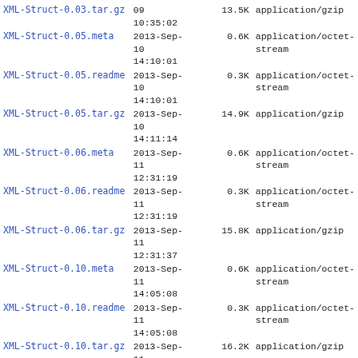| Name | Date | Size | Type |
| --- | --- | --- | --- |
| XML-Struct-0.03.tar.gz | 09
10:35:02 | 13.5K | application/gzip |
| XML-Struct-0.05.meta | 2013-Sep-
10
14:10:01 | 0.6K | application/octet-stream |
| XML-Struct-0.05.readme | 2013-Sep-
10
14:10:01 | 0.3K | application/octet-stream |
| XML-Struct-0.05.tar.gz | 2013-Sep-
10
14:11:14 | 14.9K | application/gzip |
| XML-Struct-0.06.meta | 2013-Sep-
11
12:31:19 | 0.6K | application/octet-stream |
| XML-Struct-0.06.readme | 2013-Sep-
11
12:31:19 | 0.3K | application/octet-stream |
| XML-Struct-0.06.tar.gz | 2013-Sep-
11
12:31:37 | 15.8K | application/gzip |
| XML-Struct-0.10.meta | 2013-Sep-
11
14:05:08 | 0.6K | application/octet-stream |
| XML-Struct-0.10.readme | 2013-Sep-
11
14:05:08 | 0.3K | application/octet-stream |
| XML-Struct-0.10.tar.gz | 2013-Sep-
11
14:05:57 | 16.2K | application/gzip |
| XML-Struct-0.11.meta | 2013-Sep-
12
10:18:48 | 0.6K | application/octet-stream |